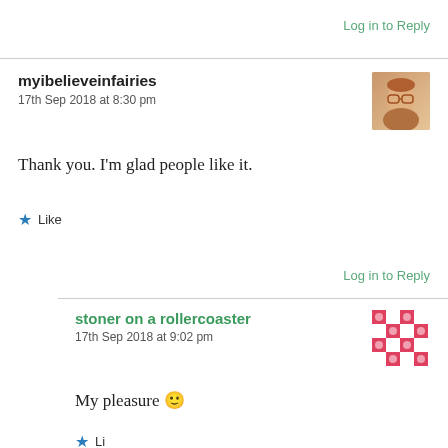Log in to Reply
myibelieveinfairies
17th Sep 2018 at 8:30 pm
Thank you. I'm glad people like it.
Like
Log in to Reply
stoner on a rollercoaster
17th Sep 2018 at 9:02 pm
My pleasure 🙂
Like